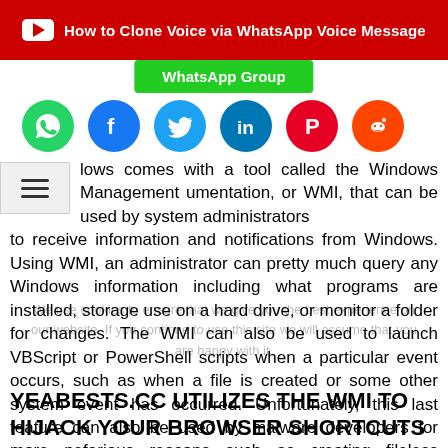[Figure (screenshot): Red YouTube banner with play icon and text 'How to Clone Voice via WhatsApp Voice Message']
[Figure (screenshot): Green WhatsApp Group button]
[Figure (screenshot): Row of social media icons: WhatsApp, Facebook, Twitter, LinkedIn, Pinterest, Reddit]
lows comes with a tool called the Windows Management umentation, or WMI, that can be used by system administrators to receive information and notifications from Windows. Using WMI, an administrator can pretty much query any Windows information including what programs are installed, storage use on a hard drive, or monitor a folder for changes. The WMI can also be used to launch VBScript or PowerShell scripts when a particular event occurs, such as when a file is created or some other system event has occurred. Unfortunately, this last feature can also be used by malware developers for more nefarious reasons such as creating fileless infectors.
We use cookies to ensure that we give you the best experience on our website. If you continue to use this site we will assume that you are happy with it.
YEABESTS.CC UTILIZES THE WMI TO HIJACK YOUR BROWSER SHORTCUTS